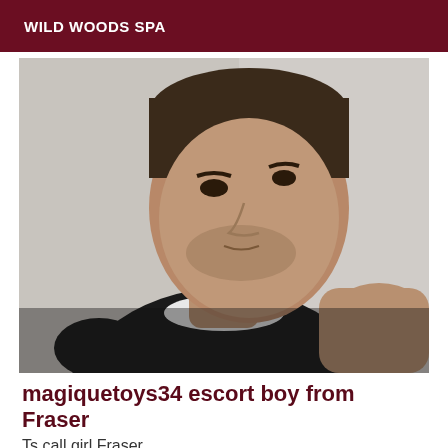WILD WOODS SPA
[Figure (photo): Close-up selfie photo of a man with short dark hair and stubble beard, wearing a black t-shirt with white collar trim, photographed against a light wall background.]
magiquetoys34 escort boy from Fraser
Ts call girl Fraser